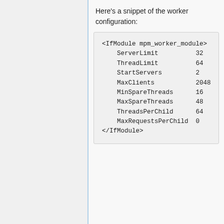Here's a snippet of the worker configuration:
<IfModule mpm_worker_module>
    ServerLimit          32
    ThreadLimit          64
    StartServers         2
    MaxClients           2048
    MinSpareThreads      16
    MaxSpareThreads      48
    ThreadsPerChild      64
    MaxRequestsPerChild  0
</IfModule>